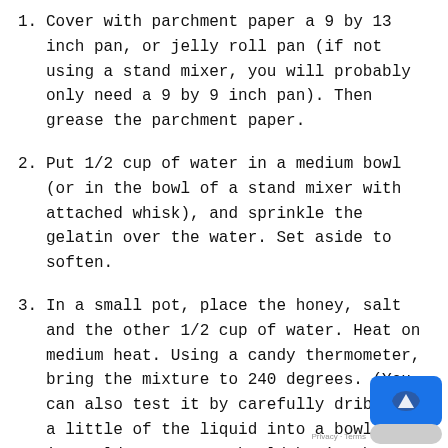1. Cover with parchment paper a 9 by 13 inch pan, or jelly roll pan (if not using a stand mixer, you will probably only need a 9 by 9 inch pan). Then grease the parchment paper.
2. Put 1/2 cup of water in a medium bowl (or in the bowl of a stand mixer with attached whisk), and sprinkle the gelatin over the water. Set aside to soften.
3. In a small pot, place the honey, salt and the other 1/2 cup of water. Heat on medium heat. Using a candy thermometer, bring the mixture to 240 degrees. (You can also test it by carefully dribbling a little of the liquid into a bowl of ice cold water. It should be in the soft candy st— which will form little soft balls when cool the water and taken out. It takes about 7-8